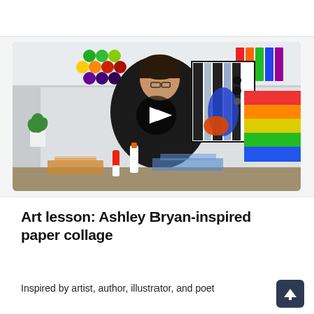[Figure (screenshot): Video thumbnail showing a woman in a black jacket holding up a colorful paper collage artwork (black, white, blue, orange design). Behind her are shelves with colorful yarn balls on the left and stacked binders/folders on the right. A play button is overlaid in the center. Craft supplies are visible on the table in front.]
Art lesson: Ashley Bryan-inspired paper collage
Inspired by artist, author, illustrator, and poet